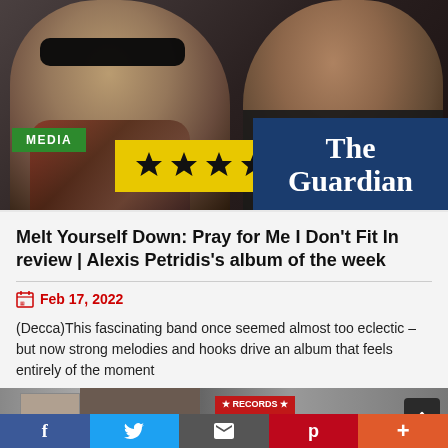[Figure (photo): Two men photographed together; the man on the left wears sunglasses and a patterned scarf; the man on the right smiles broadly. Overlaid with a green MEDIA badge, a yellow 4-star rating, and The Guardian logo on a dark blue background.]
Melt Yourself Down: Pray for Me I Don't Fit In review | Alexis Petridis's album of the week
Feb 17, 2022
(Decca)This fascinating band once seemed almost too eclectic – but now strong melodies and hooks drive an album that feels entirely of the moment
READ MORE
[Figure (photo): Partial street-level photo showing a record store with a sign reading RECORDS + BOOKS with stars.]
f  Twitter  [email]  p  +